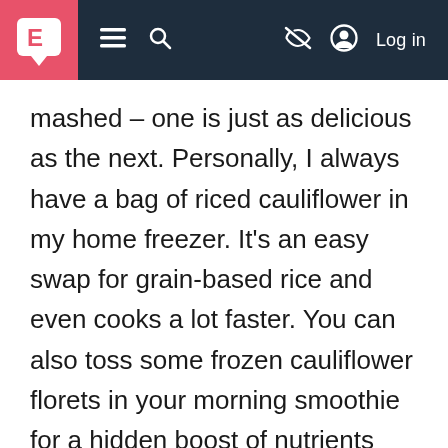E | menu | search | hide | Log in
mashed – one is just as delicious as the next. Personally, I always have a bag of riced cauliflower in my home freezer. It's an easy swap for grain-based rice and even cooks a lot faster. You can also toss some frozen cauliflower florets in your morning smoothie for a hidden boost of nutrients and smooth texture without any recognizable flavor.